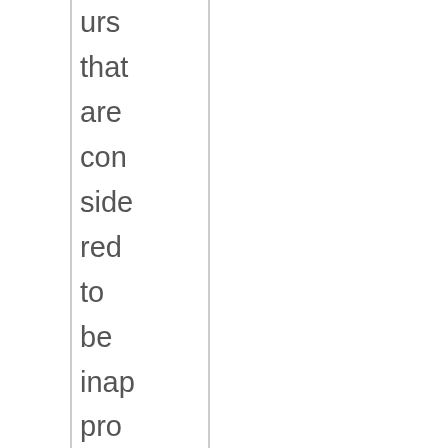urs that are considered to be inappropriate, concerning or threatening include: angry, aggressive